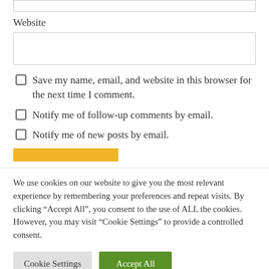Website
Save my name, email, and website in this browser for the next time I comment.
Notify me of follow-up comments by email.
Notify me of new posts by email.
We use cookies on our website to give you the most relevant experience by remembering your preferences and repeat visits. By clicking “Accept All”, you consent to the use of ALL the cookies. However, you may visit “Cookie Settings” to provide a controlled consent.
Cookie Settings
Accept All